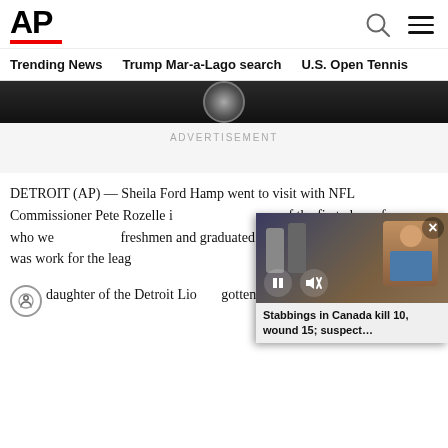AP
Trending News   Trump Mar-a-Lago search   U.S. Open Tennis
[Figure (photo): Partial dark background image strip with circular element, bottom portion of a news article hero image]
ADVERTISEMENT
DETROIT (AP) — Sheila Ford Hamp went to visit with NFL Commissioner Pete Rozelle in... of the first class of women who we... freshmen and graduated. She told h... wanted to do was work for the leag...
[Figure (screenshot): Video overlay showing a news story about stabbings in Canada, with pause and mute controls and close button. Caption reads: Stabbings in Canada kill 10, wound 15; suspect...]
A... daughter of the Detroit Lio... gotten to know the late Rozelle by...